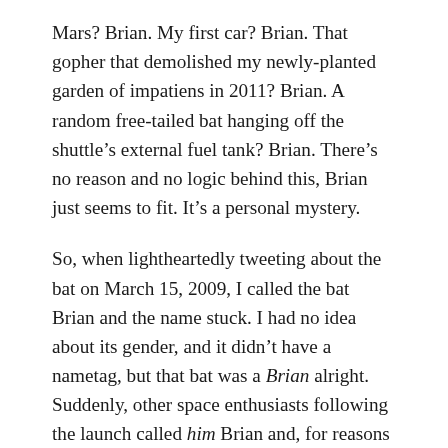Mars? Brian. My first car? Brian. That gopher that demolished my newly-planted garden of impatiens in 2011? Brian. A random free-tailed bat hanging off the shuttle's external fuel tank? Brian. There's no reason and no logic behind this, Brian just seems to fit. It's a personal mystery.
So, when lightheartedly tweeting about the bat on March 15, 2009, I called the bat Brian and the name stuck. I had no idea about its gender, and it didn't have a nametag, but that bat was a Brian alright. Suddenly, other space enthusiasts following the launch called him Brian and, for reasons I have yet to understand ten years later, in those minutes before launch,